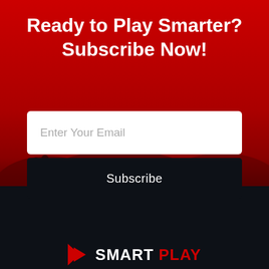Ready to Play Smarter? Subscribe Now!
Enter Your Email
Subscribe
[Figure (logo): SmartPlay logo with play button icon, white and red text on dark background]